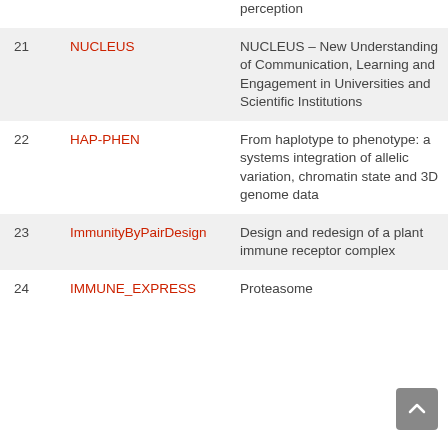| # | Project | Description |
| --- | --- | --- |
|  |  | perception |
| 21 | NUCLEUS | NUCLEUS – New Understanding of Communication, Learning and Engagement in Universities and Scientific Institutions |
| 22 | HAP-PHEN | From haplotype to phenotype: a systems integration of allelic variation, chromatin state and 3D genome data |
| 23 | ImmunityByPairDesign | Design and redesign of a plant immune receptor complex |
| 24 | IMMUNE_EXPRESS | Proteasome |